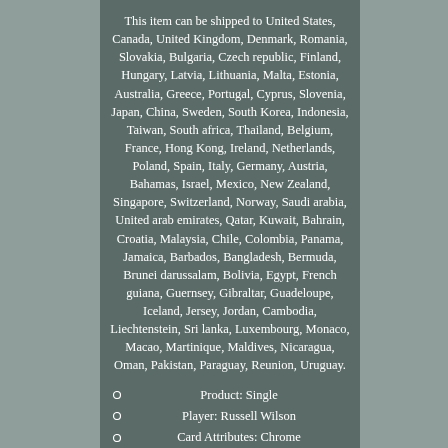This item can be shipped to United States, Canada, United Kingdom, Denmark, Romania, Slovakia, Bulgaria, Czech republic, Finland, Hungary, Latvia, Lithuania, Malta, Estonia, Australia, Greece, Portugal, Cyprus, Slovenia, Japan, China, Sweden, South Korea, Indonesia, Taiwan, South africa, Thailand, Belgium, France, Hong Kong, Ireland, Netherlands, Poland, Spain, Italy, Germany, Austria, Bahamas, Israel, Mexico, New Zealand, Singapore, Switzerland, Norway, Saudi arabia, United arab emirates, Qatar, Kuwait, Bahrain, Croatia, Malaysia, Chile, Colombia, Panama, Jamaica, Barbados, Bangladesh, Bermuda, Brunei darussalam, Bolivia, Egypt, French guiana, Guernsey, Gibraltar, Guadeloupe, Iceland, Jersey, Jordan, Cambodia, Liechtenstein, Sri lanka, Luxembourg, Monaco, Macao, Martinique, Maldives, Nicaragua, Oman, Pakistan, Paraguay, Reunion, Uruguay.
Product: Single
Player: Russell Wilson
Card Attributes: Chrome
Grade: 9.5
Year: 2012
Sport: Football